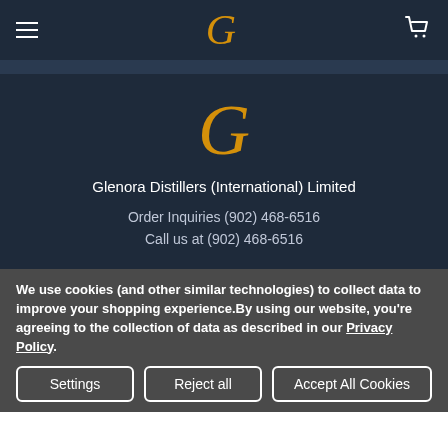Glenora Distillers navigation bar with hamburger menu, G logo, and cart icon
[Figure (logo): Large ornate italic G logo for Glenora Distillers in gold/amber color]
Glenora Distillers (International) Limited
Order Inquiries (902) 468-6516
Call us at (902) 468-6516
We use cookies (and other similar technologies) to collect data to improve your shopping experience.By using our website, you're agreeing to the collection of data as described in our Privacy Policy.
Settings
Reject all
Accept All Cookies